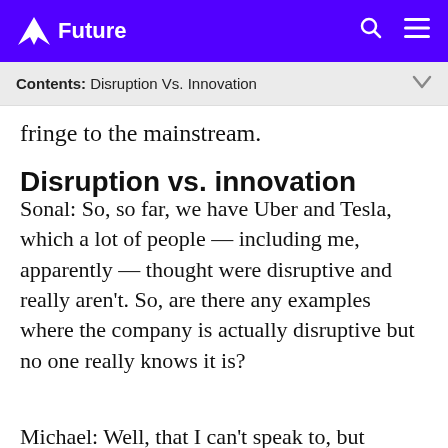Future
Contents: Disruption Vs. Innovation
fringe to the mainstream.
Disruption vs. innovation
Sonal: So, so far, we have Uber and Tesla, which a lot of people — including me, apparently — thought were disruptive and really aren't. So, are there any examples where the company is actually disruptive but no one really knows it is?
Michael: Well, that I can't speak to, but